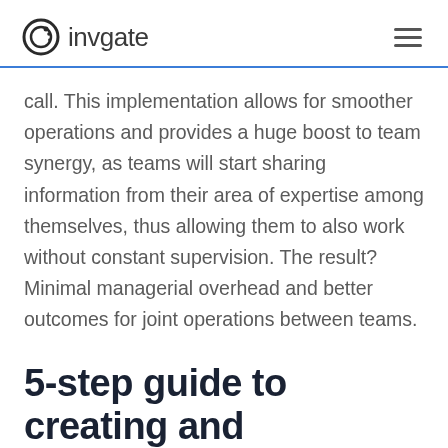invgate
call. This implementation allows for smoother operations and provides a huge boost to team synergy, as teams will start sharing information from their area of expertise among themselves, thus allowing them to also work without constant supervision. The result? Minimal managerial overhead and better outcomes for joint operations between teams.
5-step guide to creating and